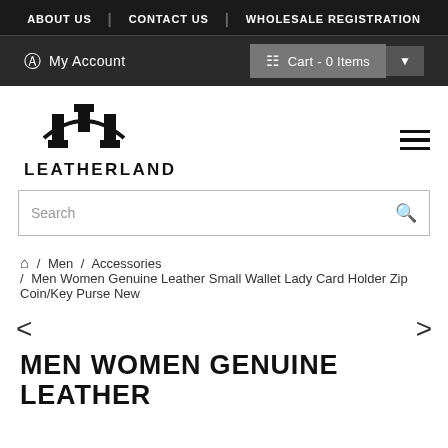ABOUT US | CONTACT US | WHOLESALE REGISTRATION
[Figure (screenshot): My Account and Cart - 0 Items navigation bar with account icon and cart icon]
[Figure (logo): Leatherland logo with stylized LL mark and brand name LEATHERLAND below]
Search
/ Men / Accessories / Men Women Genuine Leather Small Wallet Lady Card Holder Zip Coin/Key Purse New
MEN WOMEN GENUINE LEATHER